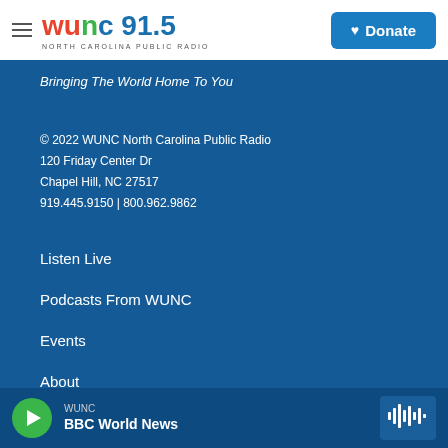[Figure (logo): WUNC 91.5 North Carolina Public Radio logo with hamburger menu and Donate button]
Bringing The World Home To You
© 2022 WUNC North Carolina Public Radio
120 Friday Center Dr
Chapel Hill, NC 27517
919.445.9150 | 800.962.9862
Listen Live
Podcasts From WUNC
Events
About
Contact Us
WUNC BBC World News